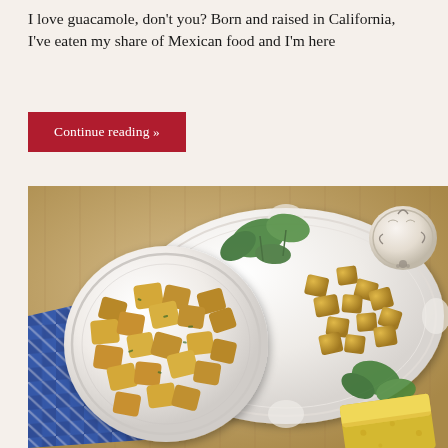I love guacamole, don't you? Born and raised in California, I've eaten my share of Mexican food and I'm here
Continue reading »
[Figure (photo): Overhead photo of garlic croutons in a white bowl and on a decorative white plate, placed on a wooden cutting board with a blue checkered cloth, fresh parsley, garlic bulb, and a wedge of Parmesan cheese]